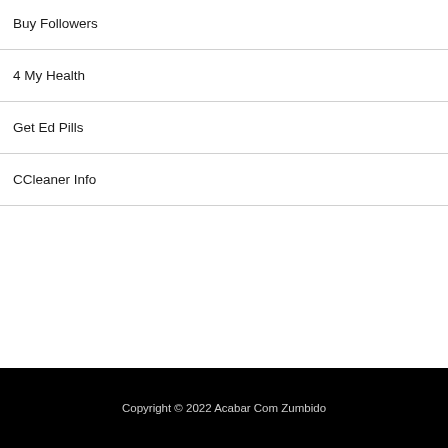Buy Followers
4 My Health
Get Ed Pills
CCleaner Info
Copyright © 2022 Acabar Com Zumbido